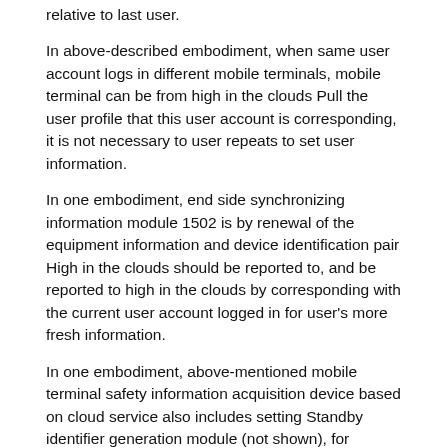relative to last user.
In above-described embodiment, when same user account logs in different mobile terminals, mobile terminal can be from high in the clouds Pull the user profile that this user account is corresponding, it is not necessary to user repeats to set user information.
In one embodiment, end side synchronizing information module 1502 is by renewal of the equipment information and device identification pair High in the clouds should be reported to, and be reported to high in the clouds by corresponding with the current user account logged in for user's more fresh information.
In one embodiment, above-mentioned mobile terminal safety information acquisition device based on cloud service also includes setting Standby identifier generation module (not shown), for generating device identification.
In one embodiment, device identification generation module can be according to the GUID of mobile terminal (GUID) device identification is generated.
In one embodiment, further, found that at the...